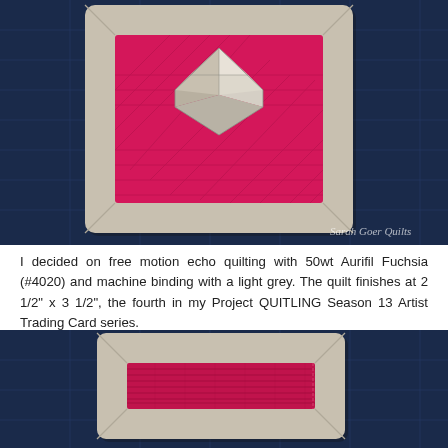[Figure (photo): A small quilted piece with a diamond/gem shape in silver and pink/fuchsia fabric on a deep pink background with a light grey border, placed on a dark blue quilting grid mat. Watermark reads 'Sarah Goer Quilts' in lower right.]
I decided on free motion echo quilting with 50wt Aurifil Fuchsia (#4020) and machine binding with a light grey. The quilt finishes at 2 1/2" x 3 1/2", the fourth in my Project QUITLING Season 13 Artist Trading Card series.
[Figure (photo): A small quilted piece showing the back/plain side with a light grey border and a fuchsia/pink fabric panel in the center, placed on a dark blue quilting grid mat.]